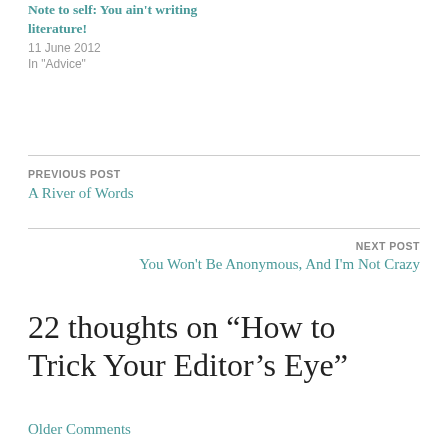Note to self: You ain't writing literature!
11 June 2012
In "Advice"
PREVIOUS POST
A River of Words
NEXT POST
You Won't Be Anonymous, And I'm Not Crazy
22 thoughts on “How to Trick Your Editor’s Eye”
Older Comments